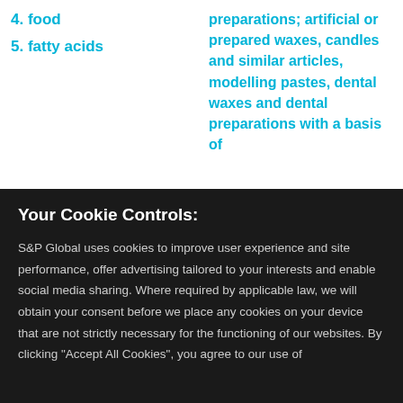4. food
5. fatty acids
preparations; artificial or prepared waxes, candles and similar articles, modelling pastes, dental waxes and dental preparations with a basis of
Your Cookie Controls:
S&P Global uses cookies to improve user experience and site performance, offer advertising tailored to your interests and enable social media sharing. Where required by applicable law, we will obtain your consent before we place any cookies on your device that are not strictly necessary for the functioning of our websites. By clicking "Accept All Cookies", you agree to our use of